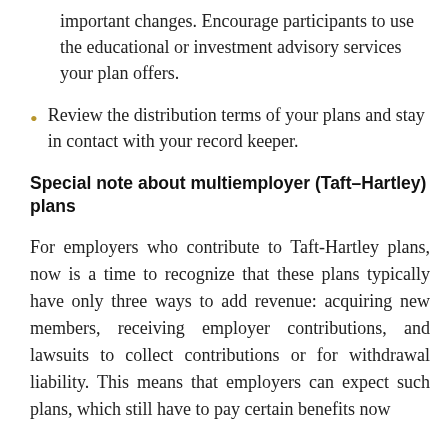important changes. Encourage participants to use the educational or investment advisory services your plan offers.
Review the distribution terms of your plans and stay in contact with your record keeper.
Special note about multiemployer (Taft–Hartley) plans
For employers who contribute to Taft-Hartley plans, now is a time to recognize that these plans typically have only three ways to add revenue: acquiring new members, receiving employer contributions, and lawsuits to collect contributions or for withdrawal liability. This means that employers can expect such plans, which still have to pay certain benefits now